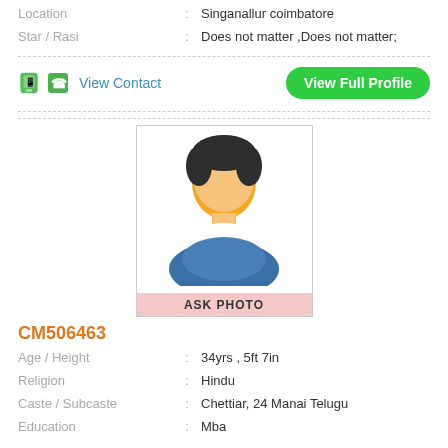Location : Singanallur coimbatore
Star / Rasi : Does not matter ,Does not matter;
View Contact
View Full Profile
[Figure (illustration): Generic male avatar placeholder with 'ASK PHOTO' label at bottom]
CM506463
Age / Height : 34yrs , 5ft 7in
Religion : Hindu
Caste / Subcaste : Chettiar, 24 Manai Telugu
Education : Mba